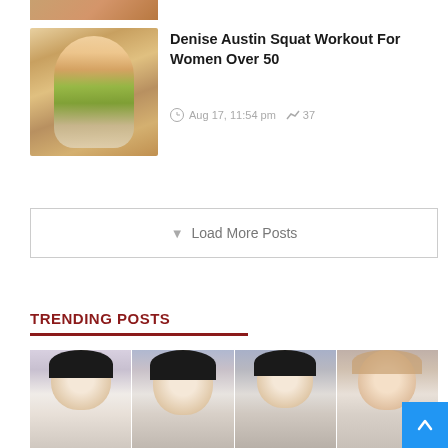[Figure (photo): Partial top image of a person, cropped at top]
[Figure (photo): Woman in yellow/green tank top flexing arms, smiling, fitness photo]
Denise Austin Squat Workout For Women Over 50
Aug 17, 11:54 pm  37
Load More Posts
TRENDING POSTS
[Figure (photo): Four young women with dark hair and bangs posing together, trending posts image]